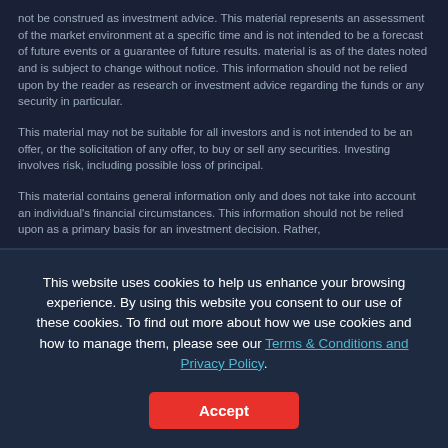not be construed as investment advice. This material represents an assessment of the market environment at a specific time and is not intended to be a forecast of future events or a guarantee of future results. material is as of the dates noted and is subject to change without notice. This information should not be relied upon by the reader as research or investment advice regarding the funds or any security in particular.
This material may not be suitable for all investors and is not intended to be an offer, or the solicitation of any offer, to buy or sell any securities. Investing involves risk, including possible loss of principal.
This material contains general information only and does not take into account an individual's financial circumstances. This information should not be relied upon as a primary basis for an investment decision. Rather,
This website uses cookies to help us enhance your browsing experience. By using this website you consent to our use of these cookies. To find out more about how we use cookies and how to manage them, please see our Terms & Conditions and Privacy Policy.